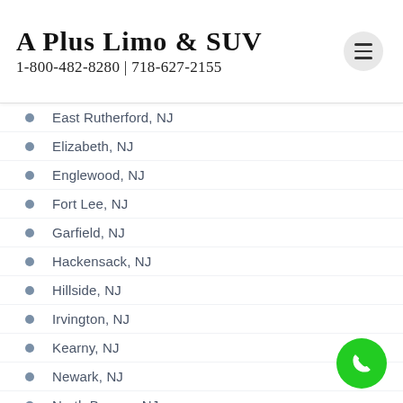A Plus Limo & SUV
1-800-482-8280 | 718-627-2155
East Rutherford, NJ
Elizabeth, NJ
Englewood, NJ
Fort Lee, NJ
Garfield, NJ
Hackensack, NJ
Hillside, NJ
Irvington, NJ
Kearny, NJ
Newark, NJ
North Bergen, NJ
Passaic, NJ
River Edge, NJ
Seacaucus, NJ
Tenafly, NJ
Union, NJ
Darien, CT
Greenwich, CT